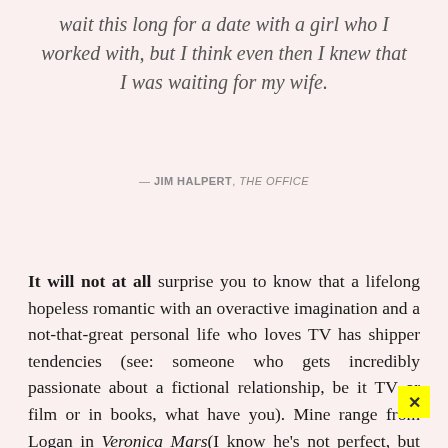wait this long for a date with a girl who I worked with, but I think even then I knew that I was waiting for my wife.
— JIM HALPERT, THE OFFICE
It will not at all surprise you to know that a lifelong hopeless romantic with an overactive imagination and a not-that-great personal life who loves TV has shipper tendencies (see: someone who gets incredibly passionate about a fictional relationship, be it TV or film or in books, what have you). Mine range from Logan in Veronica Mars(I know he's not perfect, but they're Logan and Veronica, what do you want from me), Leslie and Be